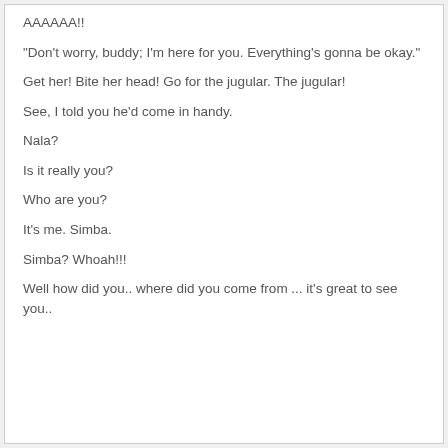AAAAAA!!
"Don't worry, buddy; I'm here for you. Everything's gonna be okay."
Get her! Bite her head! Go for the jugular. The jugular!
See, I told you he'd come in handy.
Nala?
Is it really you?
Who are you?
It's me. Simba.
Simba? Whoah!!!
Well how did you.. where did you come from ... it's great to see you..